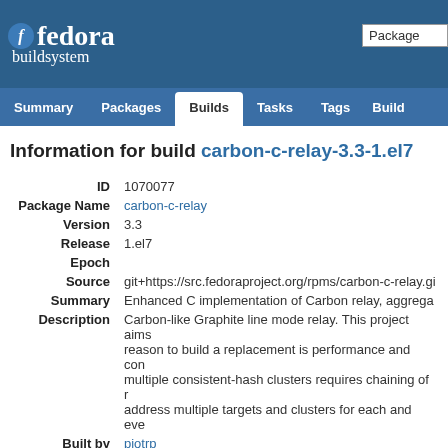fedora buildsystem
Information for build carbon-c-relay-3.3-1.el7
| Field | Value |
| --- | --- |
| ID | 1070077 |
| Package Name | carbon-c-relay |
| Version | 3.3 |
| Release | 1.el7 |
| Epoch |  |
| Source | git+https://src.fedoraproject.org/rpms/carbon-c-relay.gi |
| Summary | Enhanced C implementation of Carbon relay, aggrega |
| Description | Carbon-like Graphite line mode relay. This project aims reason to build a replacement is performance and con multiple consistent-hash clusters requires chaining of r address multiple targets and clusters for each and eve |
| Built by | piotrp |
| State | complete |